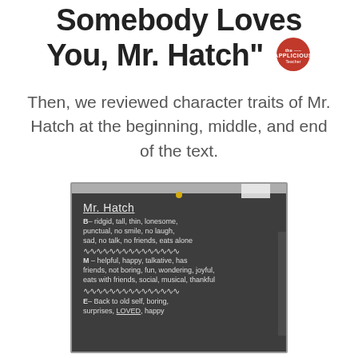Somebody Loves You, Mr. Hatch"
Then, we reviewed character traits of Mr. Hatch at the beginning, middle, and end of the text.
[Figure (photo): A photograph of a chalkboard with 'Mr. Hatch' written at the top and underlined. Below are character traits listed: B- ridgid, tall, thin, lonesome, punctual, no smile, no laugh, sad, no talk, no friends, eats alone. Followed by wavy lines, then M - helpful, happy, talkative, has friends, not boring, fun, wondering, joyful, eats with friends, social, musical, thankful. More wavy lines, then E- Back to old self, boring, surprises, LOVED, happy.]